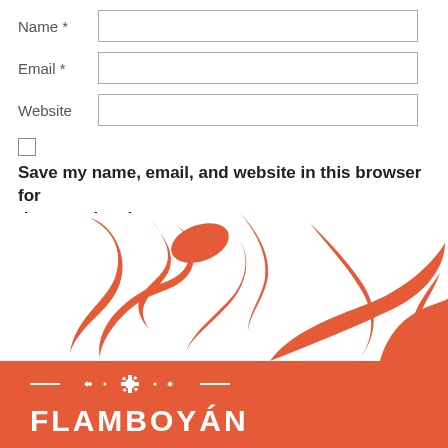Name *
Email *
Website
Save my name, email, and website in this browser for the next time I comment.
Post Comment
[Figure (illustration): Decorative orange floral/botanical swirl illustration used as a background graphic above the footer logo bar]
[Figure (logo): Flamboyan logo: white ornamental icon above the text FLAMBOYAN in bold white letters on orange background]